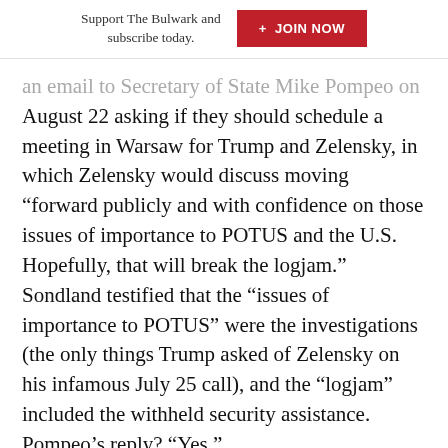Support The Bulwark and subscribe today. + JOIN NOW
an email to Secretary of State Mike Pompeo on August 22 asking if they should schedule a meeting in Warsaw for Trump and Zelensky, in which Zelensky would discuss moving “forward publicly and with confidence on those issues of importance to POTUS and the U.S. Hopefully, that will break the logjam.” Sondland testified that the “issues of importance to POTUS” were the investigations (the only things Trump asked of Zelensky on his infamous July 25 call), and the “logjam” included the withheld security assistance. Pompeo’s reply? “Yes.”
Furthermore, Sondland testified that on